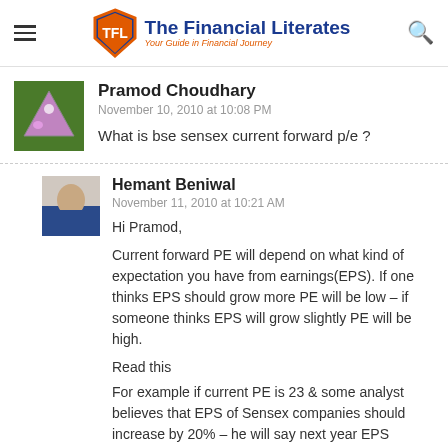The Financial Literates — Your Guide in Financial Journey
Pramod Choudhary
November 10, 2010 at 10:08 PM
What is bse sensex current forward p/e ?
Hemant Beniwal
November 11, 2010 at 10:21 AM
Hi Pramod,

Current forward PE will depend on what kind of expectation you have from earnings(EPS). If one thinks EPS should grow more PE will be low – if someone thinks EPS will grow slightly PE will be high.

Read this
For example if current PE is 23 & some analyst believes that EPS of Sensex companies should increase by 20% – he will say next year EPS